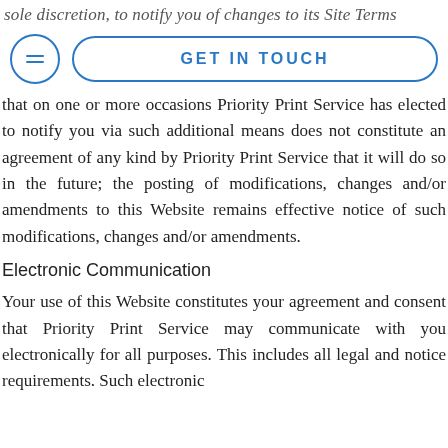sole discretion, to notify you of changes to its Site Terms
[Figure (screenshot): Navigation bar with circular menu button (hamburger icon) and 'GET IN TOUCH' button with rounded rectangle border, both in blue]
that on one or more occasions Priority Print Service has elected to notify you via such additional means does not constitute an agreement of any kind by Priority Print Service that it will do so in the future; the posting of modifications, changes and/or amendments to this Website remains effective notice of such modifications, changes and/or amendments.
Electronic Communication
Your use of this Website constitutes your agreement and consent that Priority Print Service may communicate with you electronically for all purposes. This includes all legal and notice requirements. Such electronic